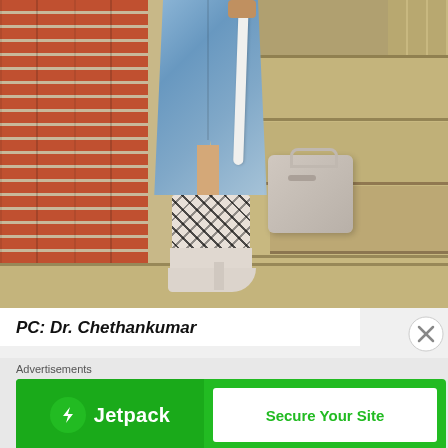[Figure (photo): Person wearing a denim maxi skirt with a slit and leopard-print ankle boots, carrying a white-handled grey bag, walking down outdoor concrete stairs next to a brick wall.]
PC: Dr. Chethankumar
Advertisements
[Figure (other): Jetpack advertisement banner: green background on left with Jetpack logo and name, white button on right reading 'Secure Your Site']